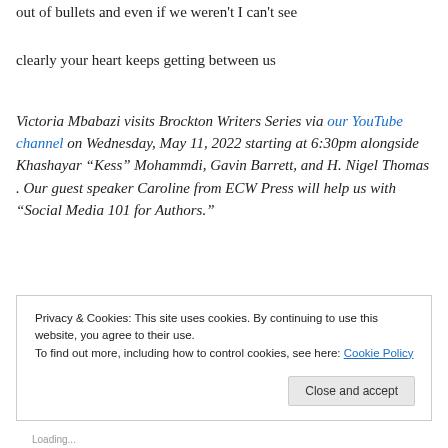out of bullets and even if we weren't I can't see
clearly your heart keeps getting between us
Victoria Mbabazi visits Brockton Writers Series via our YouTube channel on Wednesday, May 11, 2022 starting at 6:30pm alongside Khashayar “Kess” Mohammdi, Gavin Barrett, and H. Nigel Thomas . Our guest speaker Caroline from ECW Press will help us with “Social Media 101 for Authors.”
Privacy & Cookies: This site uses cookies. By continuing to use this website, you agree to their use. To find out more, including how to control cookies, see here: Cookie Policy
Close and accept
Loading...